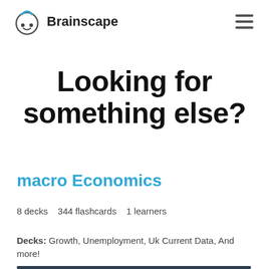Brainscape
Looking for something else?
macro Economics
8 decks   344 flashcards   1 learners
Decks: Growth, Unemployment, Uk Current Data, And more!